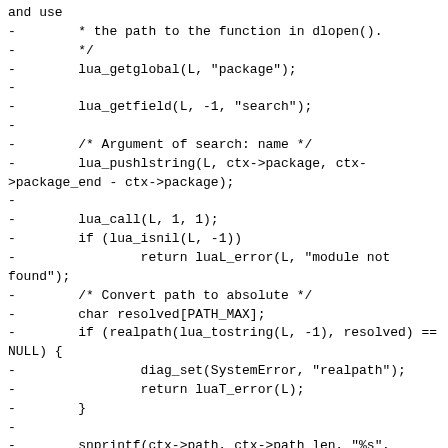and use
-        * the path to the function in dlopen().
-        */
-        lua_getglobal(L, "package");
-
-        lua_getfield(L, -1, "search");
-
-        /* Argument of search: name */
-        lua_pushlstring(L, ctx->package, ctx->package_end - ctx->package);
-
-        lua_call(L, 1, 1);
-        if (lua_isnil(L, -1))
-                return luaL_error(L, "module not found");
-        /* Convert path to absolute */
-        char resolved[PATH_MAX];
-        if (realpath(lua_tostring(L, -1), resolved) == NULL) {
-                diag_set(SystemError, "realpath");
-                return luaT_error(L);
-        }
-
-        snprintf(ctx->path, ctx->path_len, "%s", resolved);
-        return 0;
-}
-
-/**
- * Find path to module using Lua's package.cpath